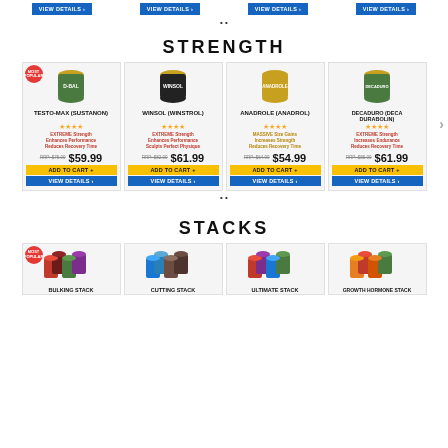[Figure (screenshot): Top row of 'VIEW DETAILS' buttons in blue]
STRENGTH
[Figure (screenshot): Product cards row: TESTO-MAX (SUSTANON) $59.99, WINSOL (WINSTROL) $61.99, ANADROLE (ANADROL) $54.99, DECADURO (DECA DURABOLIN) $61.99 with ADD TO CART and VIEW DETAILS buttons]
STACKS
[Figure (screenshot): Stack product cards row: BULKING STACK, CUTTING STACK, ULTIMATE STACK, GROWTH HORMONE STACK]